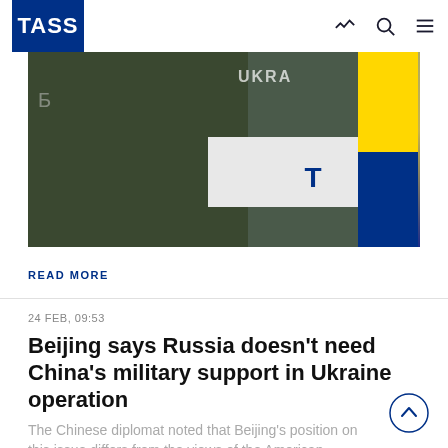TASS
[Figure (photo): A person in military-green attire at a podium with Ukrainian trident emblem; Ukrainian flag visible in background]
READ MORE
24 FEB, 09:53
Beijing says Russia doesn't need China's military support in Ukraine operation
The Chinese diplomat noted that Beijing's position on this issue differs from the views of the American leadership.